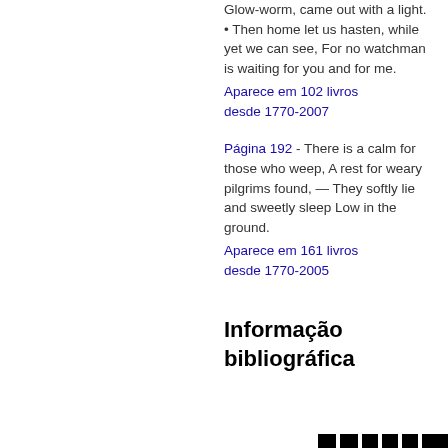Glow-worm, came out with a light. • Then home let us hasten, while yet we can see, For no watchman is waiting for you and for me.
Aparece em 102 livros desde 1770-2007
Página 192 - There is a calm for those who weep, A rest for weary pilgrims found, — They softly lie and sweetly sleep Low in the ground.
Aparece em 161 livros desde 1770-2005
Informação bibliográfica